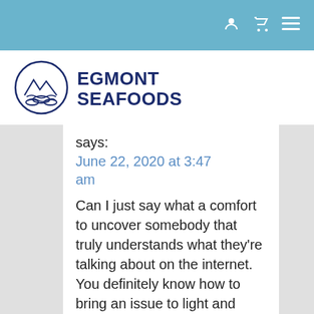Navigation bar with user, cart, and menu icons
[Figure (logo): Egmont Seafoods logo: circular emblem with fish and mountains, beside bold text EGMONT SEAFOODS in navy blue]
says:
June 22, 2020 at 3:47 am
Can I just say what a comfort to uncover somebody that truly understands what they're talking about on the internet. You definitely know how to bring an issue to light and make it important. A lot more people need